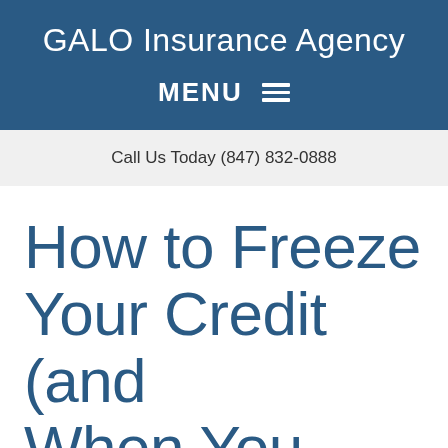GALO Insurance Agency
MENU
Call Us Today (847) 832-0888
How to Freeze Your Credit (and When You Might